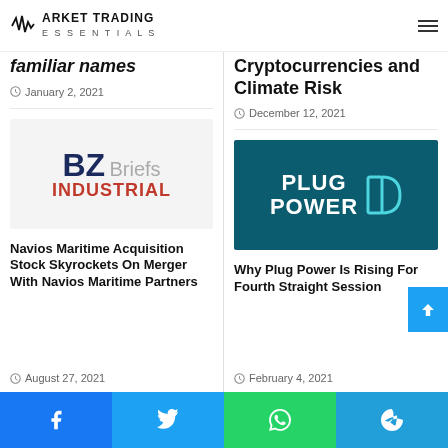Market Trading Essentials
familiar names
January 2, 2021
Cryptocurrencies and Climate Risk
December 12, 2021
[Figure (logo): BZ Briefs Industrial logo — navy BZ, gray Briefs, red INDUSTRIAL]
[Figure (logo): Plug Power logo on teal background — white PLUG POWER text with stylized P icon]
Navios Maritime Acquisition Stock Skyrockets On Merger With Navios Maritime Partners
August 27, 2021
Why Plug Power Is Rising For Fourth Straight Session
February 4, 2021
Social share buttons: Facebook, Twitter, WhatsApp, Telegram